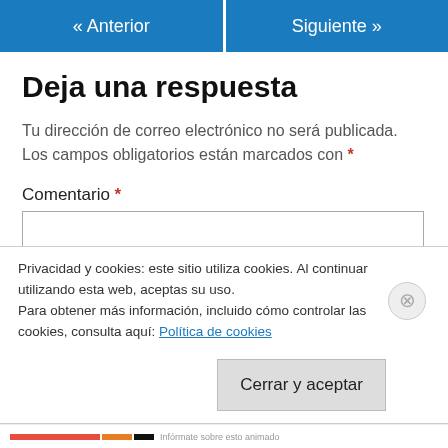« Anterior    Siguiente »
Deja una respuesta
Tu dirección de correo electrónico no será publicada. Los campos obligatorios están marcados con *
Comentario *
Privacidad y cookies: este sitio utiliza cookies. Al continuar utilizando esta web, aceptas su uso.
Para obtener más información, incluido cómo controlar las cookies, consulta aquí: Política de cookies
Cerrar y aceptar